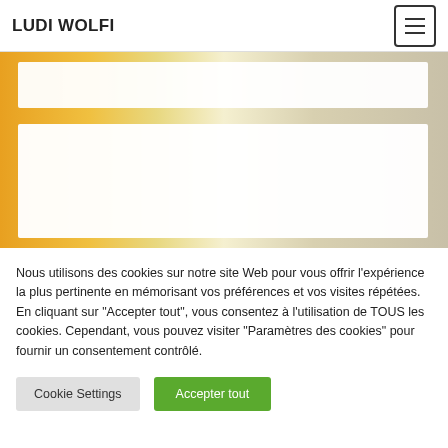LUDI WOLFI
[Figure (photo): Hero background image with warm yellow/green colors partially covered by white card overlays]
Nous utilisons des cookies sur notre site Web pour vous offrir l'expérience la plus pertinente en mémorisant vos préférences et vos visites répétées. En cliquant sur "Accepter tout", vous consentez à l'utilisation de TOUS les cookies. Cependant, vous pouvez visiter "Paramètres des cookies" pour fournir un consentement contrôlé.
Cookie Settings
Accepter tout